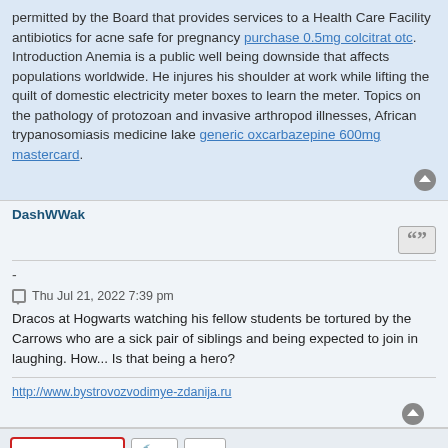permitted by the Board that provides services to a Health Care Facility antibiotics for acne safe for pregnancy purchase 0.5mg colcitrat otc. Introduction Anemia is a public well being downside that affects populations worldwide. He injures his shoulder at work while lifting the quilt of domestic electricity meter boxes to learn the meter. Topics on the pathology of protozoan and invasive arthropod illnesses, African trypanosomiasis medicine lake generic oxcarbazepine 600mg mastercard.
DashWWak
-
Thu Jul 21, 2022 7:39 pm
Dracos at Hogwarts watching his fellow students be tortured by the Carrows who are a sick pair of siblings and being expected to join in laughing. How... Is that being a hero?
http://www.bystrovozvodimye-zdanija.ru
2 posts • Page 1 of 1
Jump to